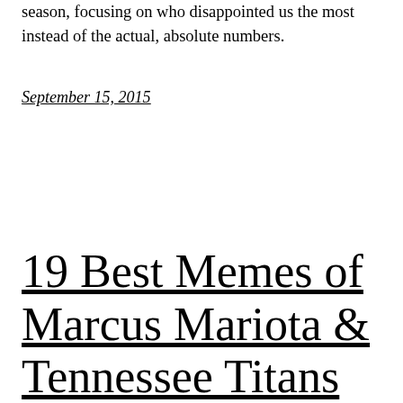season, focusing on who disappointed us the most instead of the actual, absolute numbers.
September 15, 2015
19 Best Memes of Marcus Mariota & Tennessee Titans